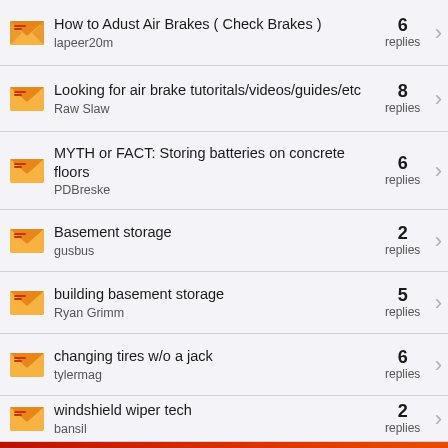How to Adust Air Brakes ( Check Brakes ) | lapeer20m | 6 replies
Looking for air brake tutoritals/videos/guides/etc | Raw Slaw | 8 replies
MYTH or FACT: Storing batteries on concrete floors | PDBreske | 6 replies
Basement storage | gusbus | 2 replies
building basement storage | Ryan Grimm | 5 replies
changing tires w/o a jack | tylermag | 6 replies
windshield wiper tech | bansil | 2 replies
[Figure (infographic): BitLife advertisement banner with colorful emojis (devil, woman, angel face), logo text BitLife with question mark and X icons, and text REAL CHOICES on dark background]